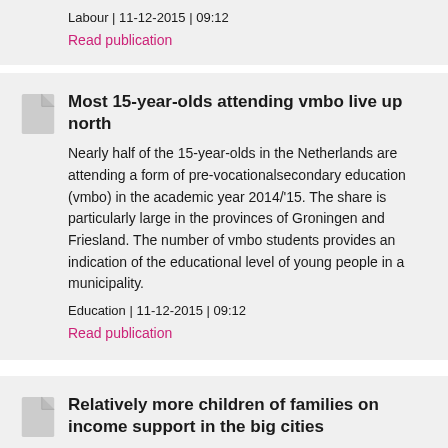Labour | 11-12-2015 | 09:12
Read publication
Most 15-year-olds attending vmbo live up north
Nearly half of the 15-year-olds in the Netherlands are attending a form of pre-vocationalsecondary education (vmbo) in the academic year 2014/'15. The share is particularly large in the provinces of Groningen and Friesland. The number of vmbo students provides an indication of the educational level of young people in a municipality.
Education | 11-12-2015 | 09:12
Read publication
Relatively more children of families on income support in the big cities